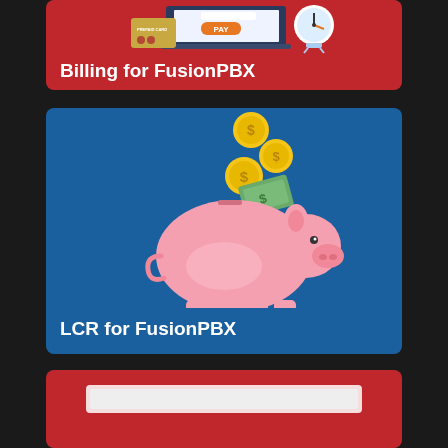[Figure (illustration): Red card with billing illustration showing a laptop with a PAY button, a prepaid card, and a clock]
Billing for FusionPBX
[Figure (illustration): Blue card with piggy bank illustration and gold coins with dollar bills falling into it]
LCR for FusionPBX
[Figure (illustration): Partially visible red card at bottom of page]